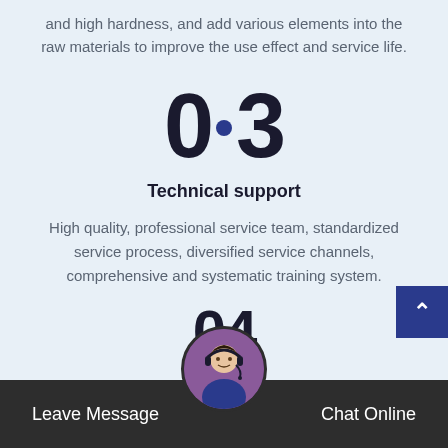and high hardness, and add various elements into the raw materials to improve the use effect and service life.
[Figure (infographic): Large stylized number '03' with a blue filled circle as the dot/decimal separator, serving as a section number indicator]
Technical support
High quality, professional service team, standardized service process, diversified service channels, comprehensive and systematic training system.
[Figure (infographic): Partial view of large stylized number '04' with a circular avatar photo of a woman with headset overlaid on it]
Leave Message    Chat Online